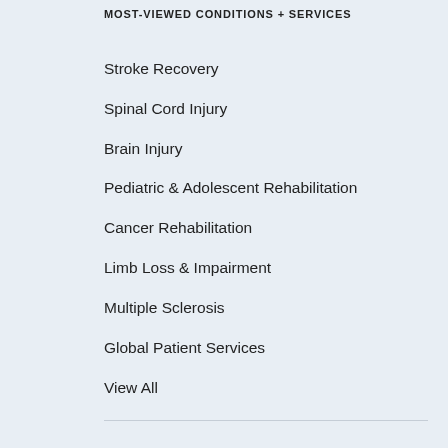MOST-VIEWED CONDITIONS + SERVICES
Stroke Recovery
Spinal Cord Injury
Brain Injury
Pediatric & Adolescent Rehabilitation
Cancer Rehabilitation
Limb Loss & Impairment
Multiple Sclerosis
Global Patient Services
View All